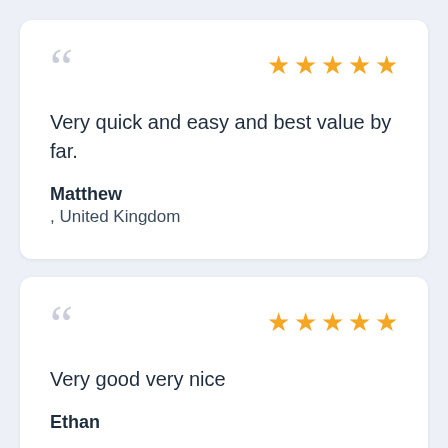Very quick and easy and best value by far.
Matthew
, United Kingdom
Very good very nice
Ethan